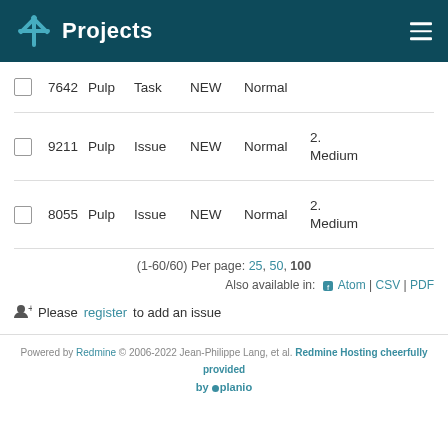Projects
|  | ID | Project | Type | Status | Priority | Extra |
| --- | --- | --- | --- | --- | --- | --- |
| ☐ | 7642 | Pulp | Task | NEW | Normal |  |
| ☐ | 9211 | Pulp | Issue | NEW | Normal | 2. Medium |
| ☐ | 8055 | Pulp | Issue | NEW | Normal | 2. Medium |
(1-60/60) Per page: 25, 50, 100
Also available in: Atom | CSV | PDF
Please register to add an issue
Powered by Redmine © 2006-2022 Jean-Philippe Lang, et al. Redmine Hosting cheerfully provided by planio